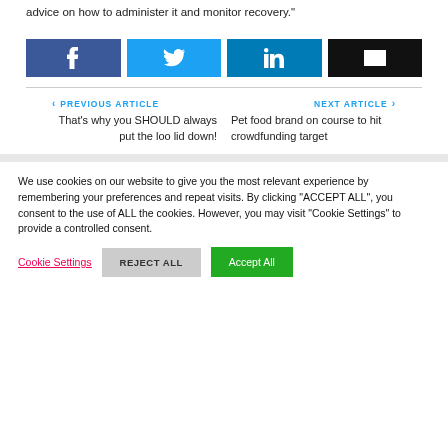advice on how to administer it and monitor recovery."
[Figure (other): Social share buttons: Facebook, Twitter, LinkedIn, Email]
< PREVIOUS ARTICLE   That's why you SHOULD always put the loo lid down!
NEXT ARTICLE >   Pet food brand on course to hit crowdfunding target
We use cookies on our website to give you the most relevant experience by remembering your preferences and repeat visits. By clicking "ACCEPT ALL", you consent to the use of ALL the cookies. However, you may visit "Cookie Settings" to provide a controlled consent.
Cookie Settings   REJECT ALL   Accept All